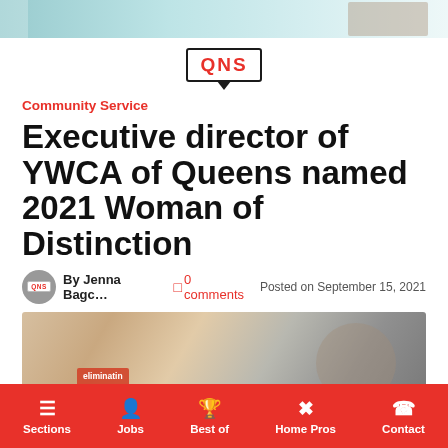[Figure (photo): Top banner with a photo of people, partially visible]
[Figure (logo): QNS logo — red letters in a black bordered rectangle with downward arrow/speech bubble tail]
Community Service
Executive director of YWCA of Queens named 2021 Woman of Distinction
By Jenna Bagc... 0 comments Posted on September 15, 2021
[Figure (photo): Two people posing together, one holding a certificate; a banner with 'eliminating' and 'empower' text visible in background]
Sections  Jobs  Best of  Home Pros  Contact